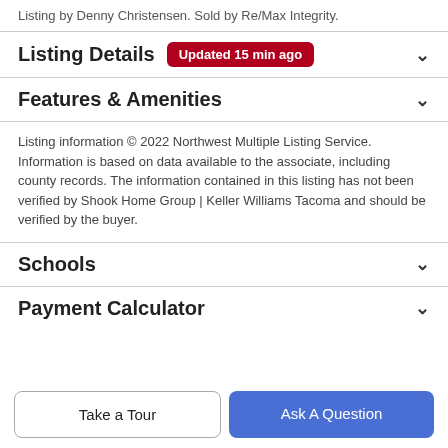Listing by Denny Christensen. Sold by Re/Max Integrity.
Listing Details  Updated 15 min ago
Features & Amenities
Listing information © 2022 Northwest Multiple Listing Service. Information is based on data available to the associate, including county records. The information contained in this listing has not been verified by Shook Home Group | Keller Williams Tacoma and should be verified by the buyer.
Schools
Payment Calculator
Take a Tour
Ask A Question